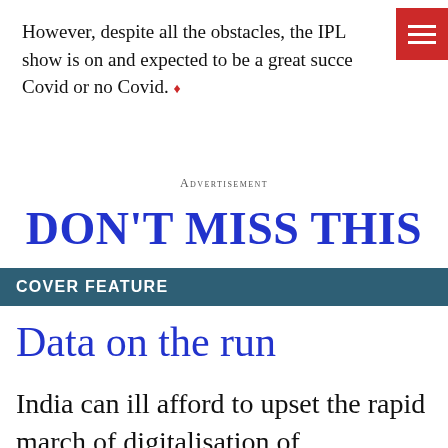However, despite all the obstacles, the IPL show is on and expected to be a great succe Covid or no Covid. ♦
Advertisement
DON'T MISS THIS
COVER FEATURE
Data on the run
India can ill afford to upset the rapid march of digitalisation of